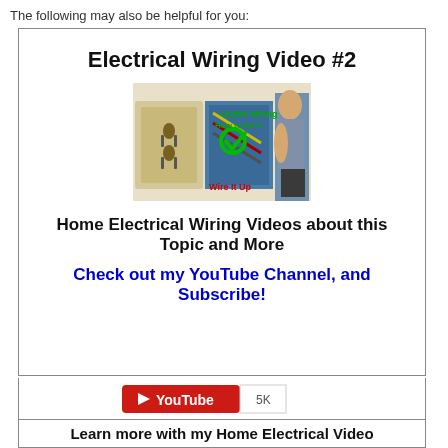The following may also be helpful for you:
Electrical Wiring Video #2
[Figure (photo): Thumbnail image for Outlet Wiring How to Do It video - Wire It Up, showing electrical outlet, wiring, and person.]
Home Electrical Wiring Videos about this Topic and More
Check out my YouTube Channel, and Subscribe!
[Figure (logo): YouTube subscribe button with 5K subscriber count badge]
Learn more with my Home Electrical Video